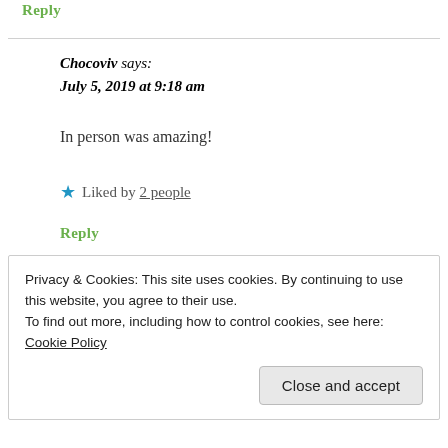Reply
Chocoviv says:
July 5, 2019 at 9:18 am
In person was amazing!
★ Liked by 2 people
Reply
Privacy & Cookies: This site uses cookies. By continuing to use this website, you agree to their use.
To find out more, including how to control cookies, see here: Cookie Policy
Close and accept